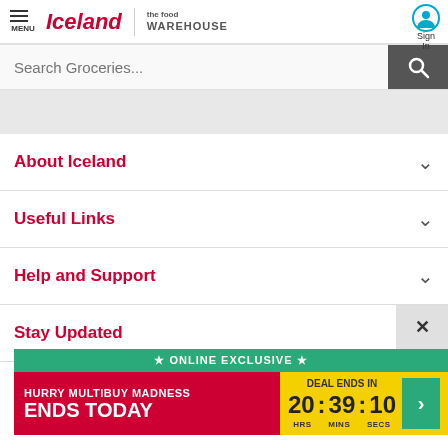[Figure (screenshot): Iceland Foods website header with menu button, Iceland | the food WAREHOUSE logo, and Sign In button]
[Figure (screenshot): Search Groceries search bar with search button]
[Figure (screenshot): Grey banner area]
About Iceland
Useful Links
Help and Support
Stay Updated
[Figure (screenshot): Online Exclusive popup ad: HURRY MULTIBUY MADNESS ENDS TODAY with deal countdown timer 20:39:10 HRS MINS SECS and green arrow button]
Iceland